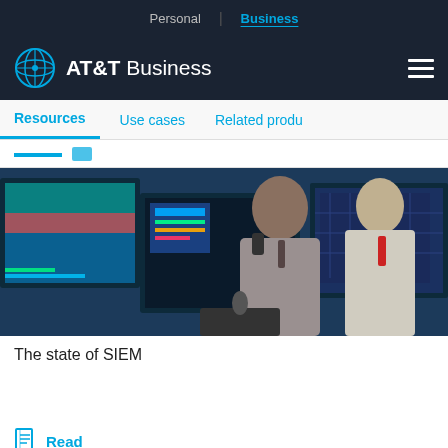Personal | Business
AT&T Business
Resources | Use cases | Related products
[Figure (photo): Two businessmen in a security operations center looking at multiple computer monitors displaying data dashboards. One man is on the phone.]
The state of SIEM
Read